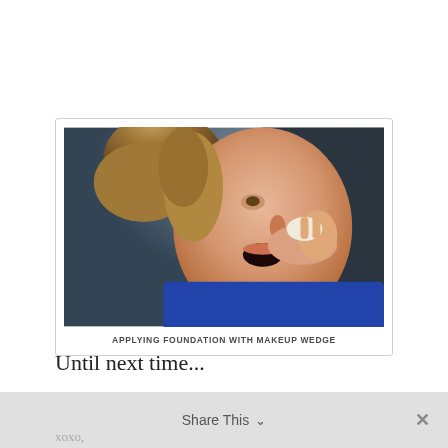[Figure (photo): A woman with blonde hair in a bun wearing a blue shirt, applying foundation makeup to her face using a makeup wedge sponge, with her mouth open.]
APPLYING FOUNDATION WITH MAKEUP WEDGE
Until next time...
Share This ∨    ✕
xoxo,